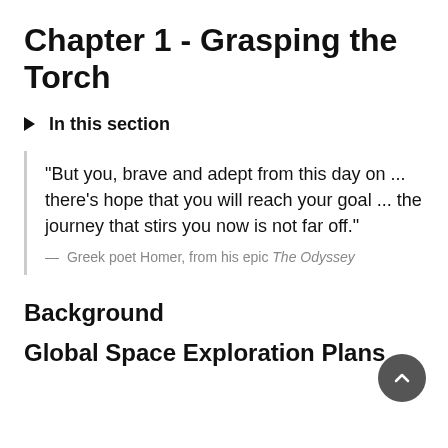Chapter 1 - Grasping the Torch
In this section
"But you, brave and adept from this day on ... there's hope that you will reach your goal ... the journey that stirs you now is not far off."
— Greek poet Homer, from his epic The Odyssey
Background
Global Space Exploration Plans